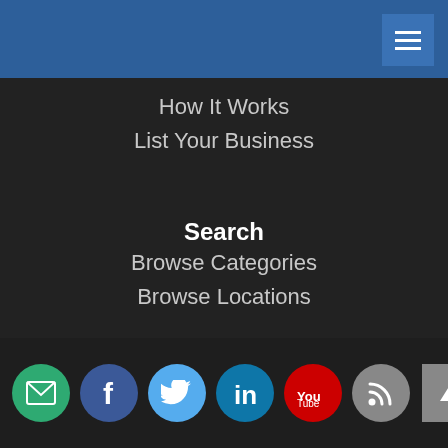How It Works
List Your Business
Search
Browse Categories
Browse Locations
Support
Password Retrieval
Contact Us
[Figure (infographic): Social media icon row: email (green), facebook (dark blue), twitter (light blue), linkedin (teal), youtube (red), rss (grey), back-to-top arrow (grey)]